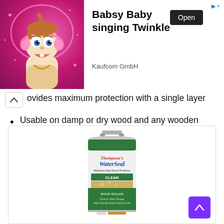[Figure (screenshot): Advertisement banner for 'Babsy Baby singing Twinkle' app by Kaufcom GmbH, featuring an animated baby character on a pink/magenta background on the left, with bold title text and an 'Open' button on the right.]
ovides maximum protection with a single layer
Usable on damp or dry wood and any wooden objects
Penetrative sealer & provides enhanced water-resistance with matte finish
[Figure (photo): Thompson's WaterSeal Waterproofing Wood Protector CLEAR gallon can product image on a white background.]